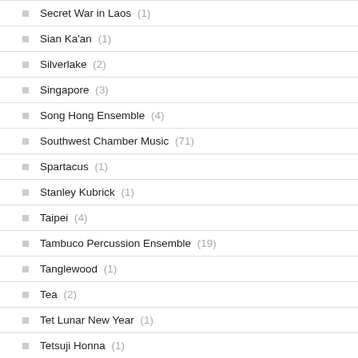Secret War in Laos (1)
Sian Ka'an (1)
Silverlake (2)
Singapore (3)
Song Hong Ensemble (4)
Southwest Chamber Music (71)
Spartacus (1)
Stanley Kubrick (1)
Taipei (4)
Tambuco Percussion Ensemble (19)
Tanglewood (1)
Tea (2)
Tet Lunar New Year (1)
Tetsuji Honna (1)
Thailand (1)